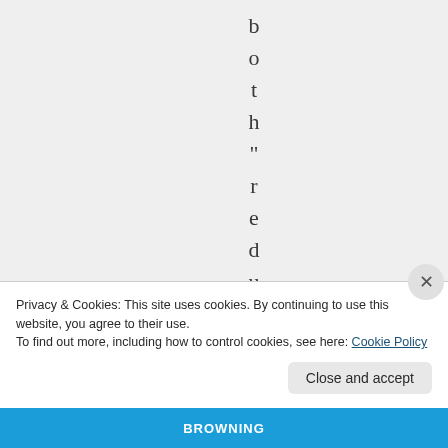b o t h " r e d u c
Privacy & Cookies: This site uses cookies. By continuing to use this website, you agree to their use.
To find out more, including how to control cookies, see here: Cookie Policy
Close and accept